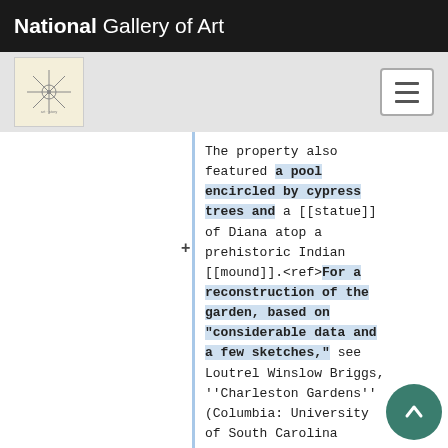National Gallery of Art
[Figure (logo): Small decorative stamp/logo icon with star-like botanical illustration on cream background]
The property also featured a pool encircled by cypress trees and a [[statue]] of Diana atop a prehistoric Indian [[mound]].<ref>For a reconstruction of the garden, based on “considerable data and a few sketches,” see Loutrel Winslow Briggs, ''Charleston Gardens'' (Columbia: University of South Carolina Press, 1951), 106-[https://www.zotero.org